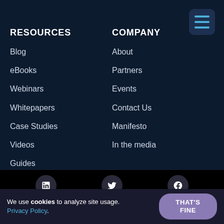RESOURCES
Blog
eBooks
Webinars
Whitepapers
Case Studies
Videos
Guides
COMPANY
About
Partners
Events
Contact Us
Manifesto
In the media
We use cookies to analyze site usage. Privacy Policy.
THAT'S FINE